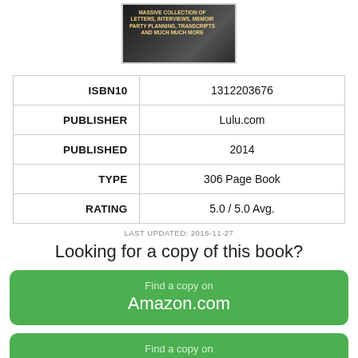[Figure (photo): Book cover image with dark background and text 'MASSIVE COLLECTION OF LETTERS, INTERVIEWS, MEMOIRS, PARTY PLANNING, TRANSCRIPTS AND MUCH MUCH MORE']
| ISBN10 | 1312203676 |
| PUBLISHER | Lulu.com |
| PUBLISHED | 2014 |
| TYPE | 306 Page Book |
| RATING | 5.0 / 5.0 Avg. |
LAST UPDATED: 2016-11-27
Looking for a copy of this book?
Find a copy on Amazon.com
Find a copy on eBay.com